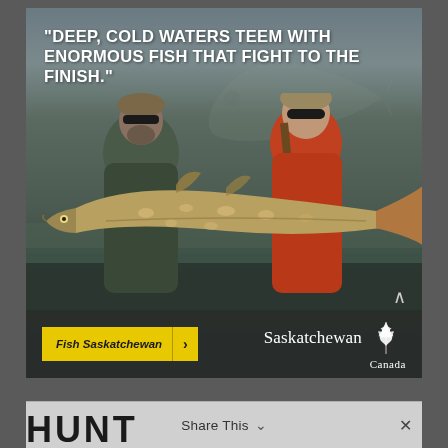[Figure (photo): Advertisement for Fish Saskatchewan showing a man and woman holding a large northern pike fish outdoors on a cloudy day. The man wears a green jacket, cap, and sunglasses; the woman wears an orange jacket, cap, and sunglasses. Large text overlay reads: 'DEEP, COLD WATERS TEEM WITH ENORMOUS FISH THAT FIGHT TO THE FINISH.' A yellow 'Fish Saskatchewan >' call-to-action button and the Saskatchewan Canada logo appear in the bottom bar of the ad.]
"DEEP, COLD WATERS TEEM WITH ENORMOUS FISH THAT FIGHT TO THE FINISH."
Fish Saskatchewan >
Saskatchewan Canada
Share This
HUNT